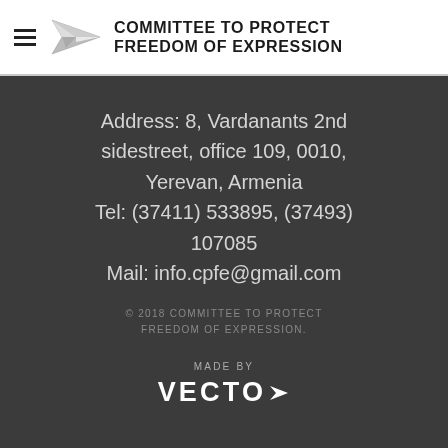COMMITTEE TO PROTECT FREEDOM OF EXPRESSION
Address: 8, Vardanants 2nd sidestreet, office 109, 0010, Yerevan, Armenia
Tel: (37411) 533895, (37493) 107085
Mail: info.cpfe@gmail.com
© 2018 COMMITTEE TO PROTECT FREEDOM OF EXPRESSION.
MADE BY VECTO